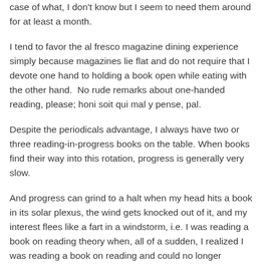case of what, I don't know but I seem to need them around for at least a month.
I tend to favor the al fresco magazine dining experience simply because magazines lie flat and do not require that I devote one hand to holding a book open while eating with the other hand.  No rude remarks about one-handed reading, please; honi soit qui mal y pense, pal.
Despite the periodicals advantage, I always have two or three reading-in-progress books on the table. When books find their way into this rotation, progress is generally very slow.
And progress can grind to a halt when my head hits a book in its solar plexus, the wind gets knocked out of it, and my interest flees like a fart in a windstorm, i.e. I was reading a book on reading theory when, all of a sudden, I realized I was reading a book on reading and could no longer